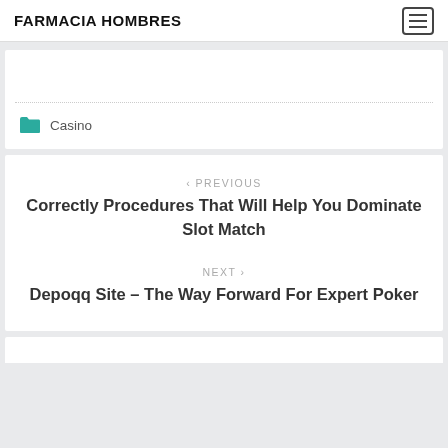FARMACIA HOMBRES
Casino
< PREVIOUS
Correctly Procedures That Will Help You Dominate Slot Match
NEXT >
Depoqq Site – The Way Forward For Expert Poker